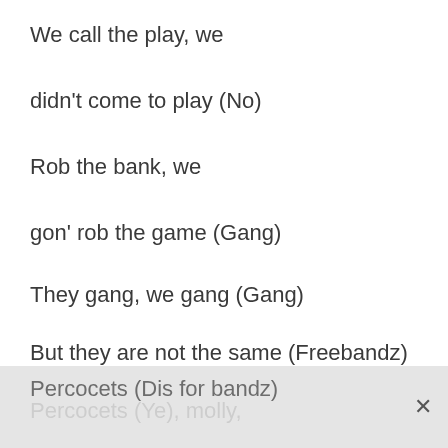We call the play, we
didn't come to play (No)
Rob the bank, we
gon' rob the game (Gang)
They gang, we gang (Gang)
But they are not the same (Freebandz)
Percocets (Ye), molly,
Percocets (Dis for bandz)